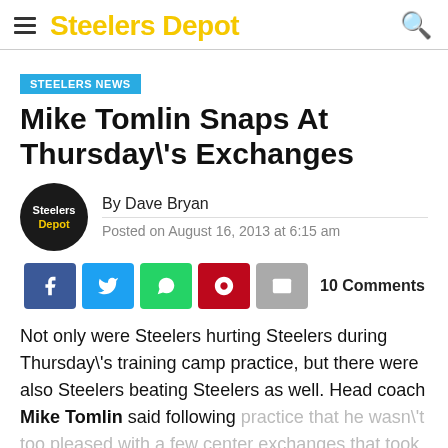Steelers Depot
STEELERS NEWS
Mike Tomlin Snaps At Thursday\'s Exchanges
By Dave Bryan
Posted on August 16, 2013 at 6:15 am
10 Comments
Not only were Steelers hurting Steelers during Thursday\'s training camp practice, but there were also Steelers beating Steelers as well. Head coach Mike Tomlin said following practice that he wasn\'t too pleased with a few center exchanges that took place during the session.